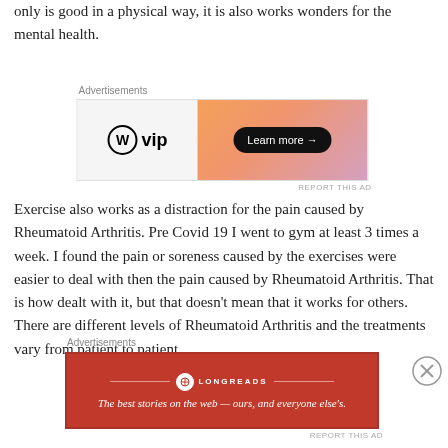only is good in a physical way, it is also works wonders for the mental health.
[Figure (other): WordPress VIP advertisement banner with gradient orange-pink background and 'Learn more →' button]
Exercise also works as a distraction for the pain caused by Rheumatoid Arthritis. Pre Covid 19 I went to gym at least 3 times a week. I found the pain or soreness caused by the exercises were easier to deal with then the pain caused by Rheumatoid Arthritis. That is how dealt with it, but that doesn't mean that it works for others. There are different levels of Rheumatoid Arthritis and the treatments vary from patient to patient.
[Figure (other): Longreads advertisement banner with red background: 'The best stories on the web — ours, and everyone else's.']